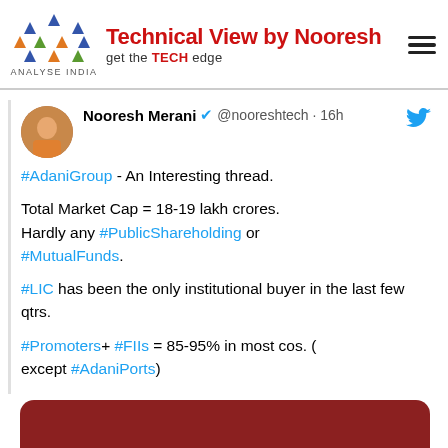Technical View by Nooresh — get the TECH edge (Analyse India logo)
Nooresh Merani ✓ @nooreshtech · 16h
#AdaniGroup - An Interesting thread.

Total Market Cap = 18-19 lakh crores.
Hardly any #PublicShareholding or #MutualFunds.

#LIC has been the only institutional buyer in the last few qtrs.

#Promoters+ #FIIs = 85-95% in most cos. (except #AdaniPorts)
[Figure (photo): Partially visible dark red/maroon image at bottom of tweet]